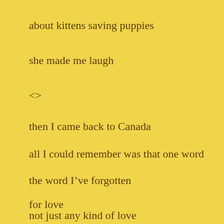about kittens saving puppies
she made me laugh
<>
then I came back to Canada
all I could remember was that one word
the word I’ve forgotten
for love
not just any kind of love